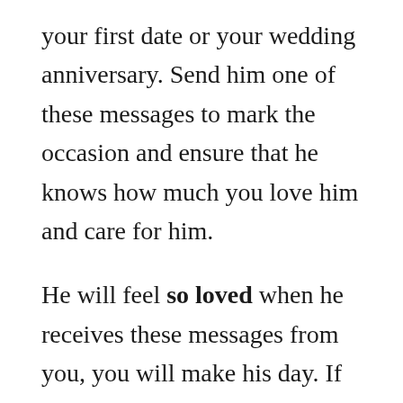your first date or your wedding anniversary. Send him one of these messages to mark the occasion and ensure that he knows how much you love him and care for him.

He will feel so loved when he receives these messages from you, you will make his day. If you are wondering what are the best messages to send to your guy then keep reading. Here is a list of messages to make him happy and make